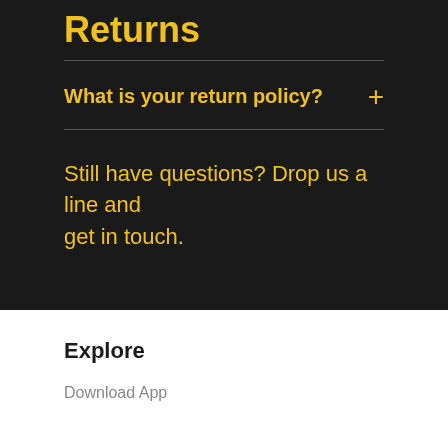Returns
What is your return policy?
Still have questions? Drop us a line and get in touch.
Explore
Download App